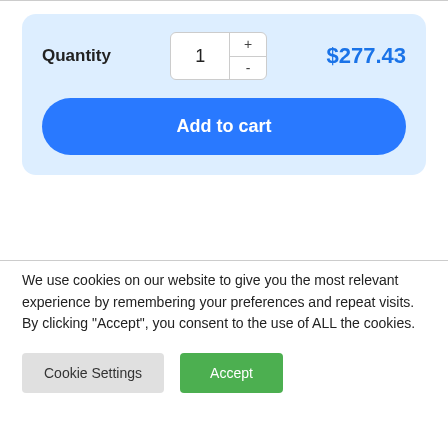Quantity   1   +   -   $277.43
Add to cart
We use cookies on our website to give you the most relevant experience by remembering your preferences and repeat visits. By clicking “Accept”, you consent to the use of ALL the cookies.
Cookie Settings
Accept